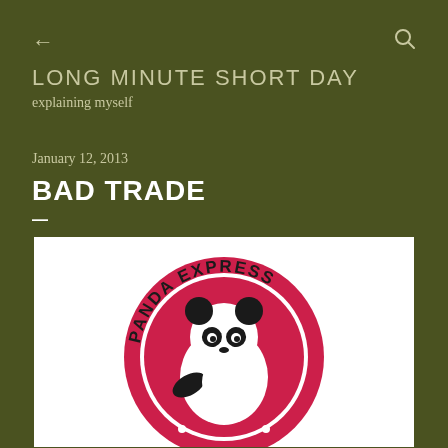← (back arrow) | 🔍 (search icon)
LONG MINUTE SHORT DAY
explaining myself
January 12, 2013
BAD TRADE
[Figure (logo): Panda Express logo: circular design with red background, black and white panda bear in the center, text 'PANDA EXPRESS' arched along the top inside the circle, dots at the bottom]